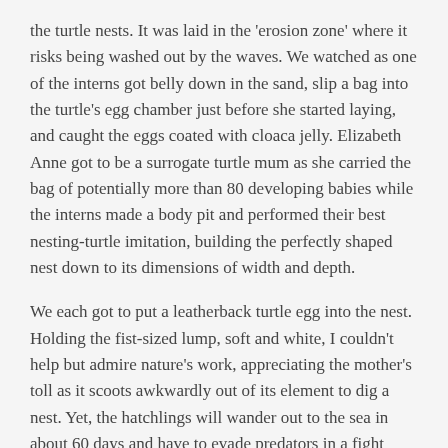the turtle nests. It was laid in the 'erosion zone' where it risks being washed out by the waves. We watched as one of the interns got belly down in the sand, slip a bag into the turtle's egg chamber just before she started laying, and caught the eggs coated with cloaca jelly. Elizabeth Anne got to be a surrogate turtle mum as she carried the bag of potentially more than 80 developing babies while the interns made a body pit and performed their best nesting-turtle imitation, building the perfectly shaped nest down to its dimensions of width and depth.
We each got to put a leatherback turtle egg into the nest. Holding the fist-sized lump, soft and white, I couldn't help but admire nature's work, appreciating the mother's toll as it scoots awkwardly out of its element to dig a nest. Yet, the hatchlings will wander out to the sea in about 60 days and have to evade predators in a fight where most will not survive.
However, knowing that even before they can emerge, the leatherback hatchlings and their other sea turtle brethren around the world face to risk of irresponsible beach usage and poaching by humans, I gain even more appreciation for the massive amount of